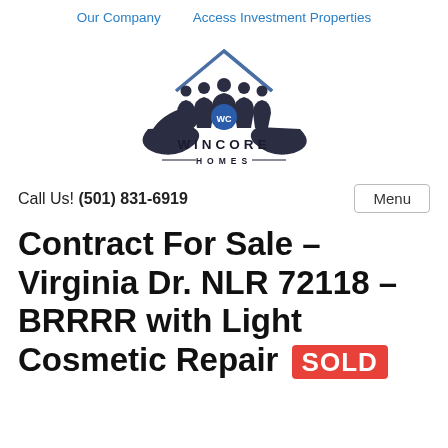Our Company   Access Investment Properties
[Figure (logo): Wincore Homes logo: stylized house outline with group of people silhouettes and hands cradling them, with 'WC' text, above the text WINCORE HOMES in dark navy/black with decorative lines]
Call Us! (501) 831-6919
Menu
Contract For Sale – Virginia Dr. NLR 72118 – BRRRR with Light Cosmetic Repair SOLD